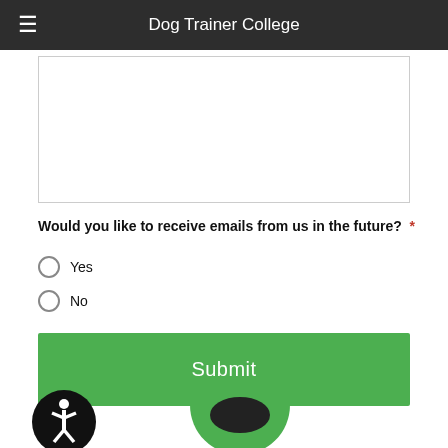Dog Trainer College
[Text area input field]
Would you like to receive emails from us in the future? *
Yes
No
Submit
[Figure (logo): Accessibility icon - black circle with white person figure]
[Figure (logo): Green partial circle logo at bottom right]